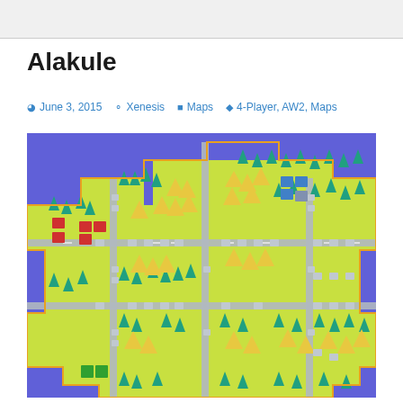Alakule
June 3, 2015  Xenesis  Maps  4-Player, AW2, Maps
[Figure (map): Advance Wars 2 game map named Alakule showing a top-down pixel art style map with green terrain, roads/paths in gray, trees, mountains, water/ocean in blue/purple surrounding the landmass, and colored military unit/building icons scattered across the map]